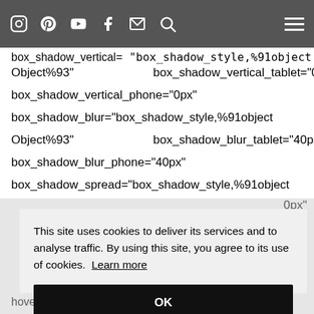Object%93  box_shadow_horizontal_tablet= 0px
[Figure (screenshot): Navigation bar with social media icons (Instagram, Pinterest, YouTube, Facebook, Mail, Search) on dark gray background, and hamburger menu icon on right]
box_shadow_vertical= box_shadow_style,%91object Object%93  box_shadow_vertical_tablet="0px"
box_shadow_vertical_phone="0px"
box_shadow_blur="box_shadow_style,%91object Object%93"  box_shadow_blur_tablet="40px"
box_shadow_blur_phone="40px"
box_shadow_spread="box_shadow_style,%91object
0px"
This site uses cookies to deliver its services and to analyse traffic. By using this site, you agree to its use of cookies.  Learn more
OK
hover_transition_delay_phone= 0ms